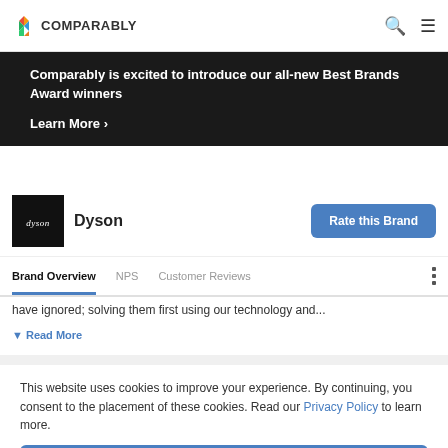COMPARABLY
Comparably is excited to introduce our all-new Best Brands Award winners
Learn More >
[Figure (logo): Dyson brand logo — white dyson wordmark on black square background]
Dyson
Rate this Brand
Brand Overview
NPS
Customer Reviews
have ignored; solving them first using our technology and...
Read More
This website uses cookies to improve your experience. By continuing, you consent to the placement of these cookies. Read our Privacy Policy to learn more.
ACCEPT